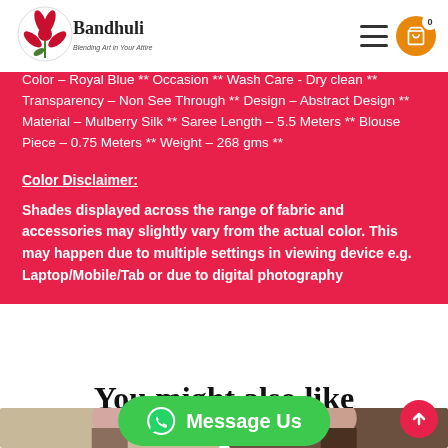[Figure (logo): Bandhuli logo with stylized flower and text 'Blending Art in Your Attire']
Color – Royal Blue ** Occasion ** Wash Care - Dry clean ** Transparency – Non See Through ** Design – Abstract Design ** Material – Mulberry Silk ** Saree Length – 5.5 Meters ** Blouse Piece – 0.75 Meters ** Weight – 268 gms **
Color Disclaimer:
Shades displayed across the range of fabric and accessories may slightly vary from the actual color. This may happen due to multiple settings in viewing device e.g. Laptop/Mobile/Tab or due to digital photography
You might also like
[Figure (photo): Two product photos of women in sarees shown at bottom of page]
[Figure (infographic): Green WhatsApp Message Us button overlay]